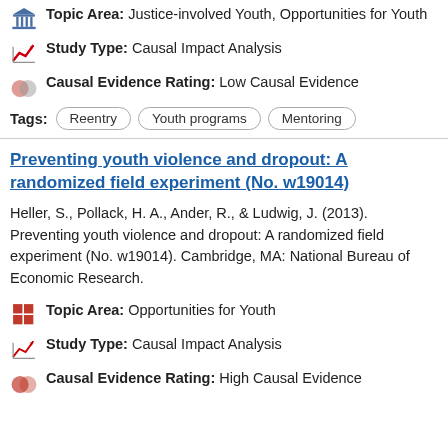Topic Area: Justice-involved Youth, Opportunities for Youth
Study Type: Causal Impact Analysis
Causal Evidence Rating: Low Causal Evidence
Tags: Reentry  Youth programs  Mentoring
Preventing youth violence and dropout: A randomized field experiment (No. w19014)
Heller, S., Pollack, H. A., Ander, R., & Ludwig, J. (2013). Preventing youth violence and dropout: A randomized field experiment (No. w19014). Cambridge, MA: National Bureau of Economic Research.
Topic Area: Opportunities for Youth
Study Type: Causal Impact Analysis
Causal Evidence Rating: High Causal Evidence